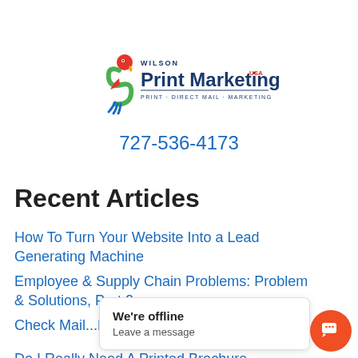[Figure (logo): Wilson Print Marketing USA logo with parrot bird graphic and tagline PRINT · DIRECT MAIL · MARKETING]
727-536-4173
Recent Articles
How To Turn Your Website Into a Lead Generating Machine
Employee & Supply Chain Problems: Problem & Solutions, Part 2
Check Mail...Distressed
Do I Really Need A Printed Brochure
We're offline
Leave a message